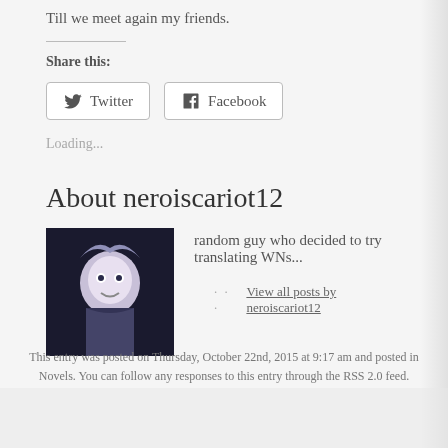Till we meet again my friends.
Share this:
Twitter   Facebook
Loading...
About neroiscariot12
random guy who decided to try translating WNs...
View all posts by neroiscariot12
This entry was posted on Thursday, October 22nd, 2015 at 9:17 am and posted in Novels. You can follow any responses to this entry through the RSS 2.0 feed.